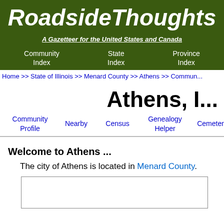RoadsideThoughts
A Gazetteer for the United States and Canada
Community Index | State Index | Province Index
Home >> State of Illinois >> Menard County >> Athens >> Commun...
Athens, I...
Community Profile | Nearby | Census | Genealogy Helper | Cemeteries
Welcome to Athens ...
The city of Athens is located in Menard County.
[Figure (map): Map box placeholder showing location of Athens]